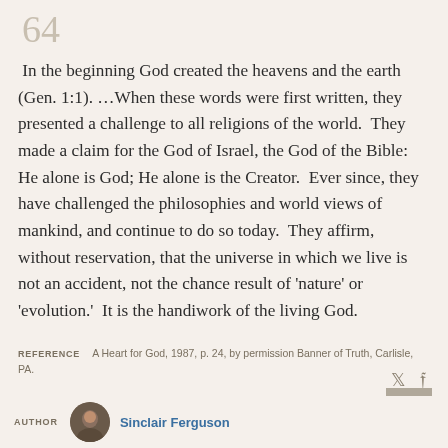64
In the beginning God created the heavens and the earth (Gen. 1:1). …When these words were first written, they presented a challenge to all religions of the world. They made a claim for the God of Israel, the God of the Bible: He alone is God; He alone is the Creator. Ever since, they have challenged the philosophies and world views of mankind, and continue to do so today. They affirm, without reservation, that the universe in which we live is not an accident, not the chance result of 'nature' or 'evolution.' It is the handiwork of the living God.
REFERENCE   A Heart for God, 1987, p. 24, by permission Banner of Truth, Carlisle, PA.
AUTHOR   Sinclair Ferguson